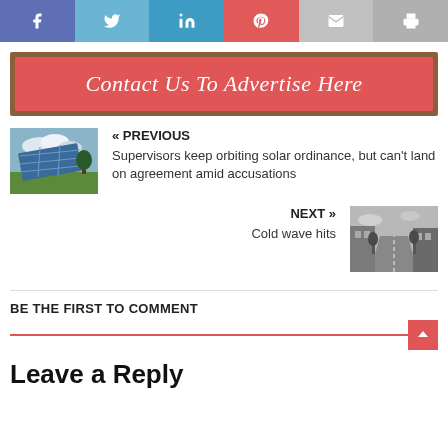[Figure (infographic): Social share buttons: Facebook, Twitter, LinkedIn, Pinterest, Email, Print]
[Figure (infographic): Red advertisement banner with brown border reading 'Contact Us To Advertise Here']
« PREVIOUS
Supervisors keep orbiting solar ordinance, but can't land on agreement amid accusations
NEXT »
Cold wave hits
BE THE FIRST TO COMMENT
Leave a Reply